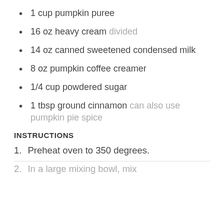1 cup pumpkin puree
16 oz heavy cream divided
14 oz canned sweetened condensed milk
8 oz pumpkin coffee creamer
1/4 cup powdered sugar
1 tbsp ground cinnamon can also use pumpkin pie spice
INSTRUCTIONS
1. Preheat oven to 350 degrees.
2. In a large mixing bowl, mix